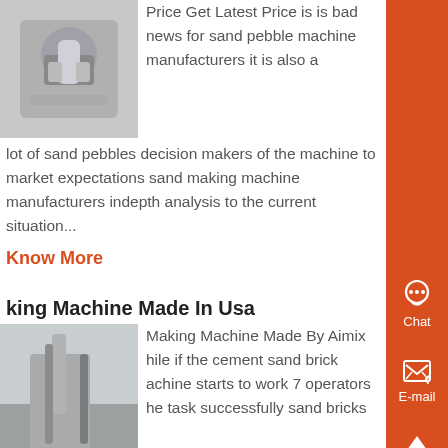[Figure (photo): Close-up of industrial machine parts, metal fittings]
Price Get Latest Price is is bad news for sand pebble machine manufacturers it is also a lot of sand pebbles decision makers of the machine to market expectations sand making machine manufacturers indepth analysis to the current situation...
Know More
king Machine Made In Usa
[Figure (photo): Industrial sand making machine with workers at a construction site]
Making Machine Made By Aimix hile if the cement sand brick achine starts to work 7 operators he task successfully sand bricks manufacturing process 4 we equip the goodquality components on the hydraulic automatic sand brick making machine some